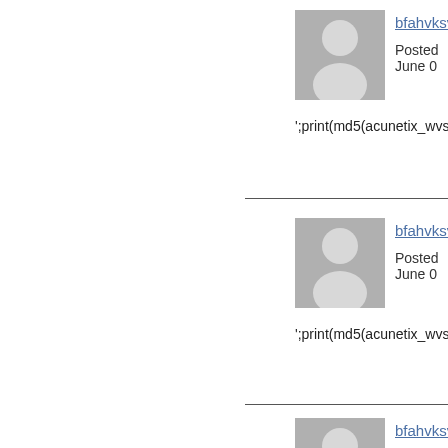[Figure (photo): Generic user avatar silhouette placeholder image, gray background with person silhouette]
bfahvksv
Posted June 0
';print(md5(acunetix_wvs_securi
[Figure (photo): Generic user avatar silhouette placeholder image, gray background with person silhouette]
bfahvksv
Posted June 0
';print(md5(acunetix_wvs_securi
[Figure (photo): Generic user avatar silhouette placeholder image, gray background with person silhouette]
bfahvksv
Posted June 0